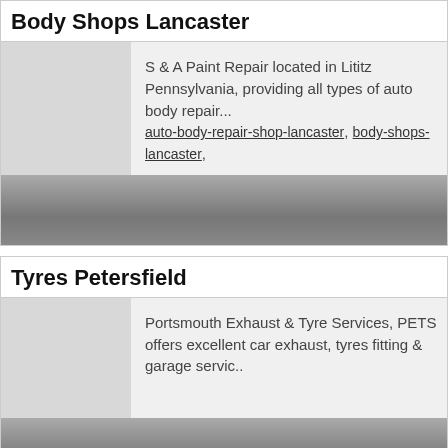Body Shops Lancaster
S & A Paint Repair located in Lititz Pennsylvania, providing all types of auto body repair...
auto-body-repair-shop-lancaster, body-shops-lancaster,
Tyres Petersfield
Portsmouth Exhaust & Tyre Services, PETS offers excellent car exhaust, tyres fitting & garage servic..